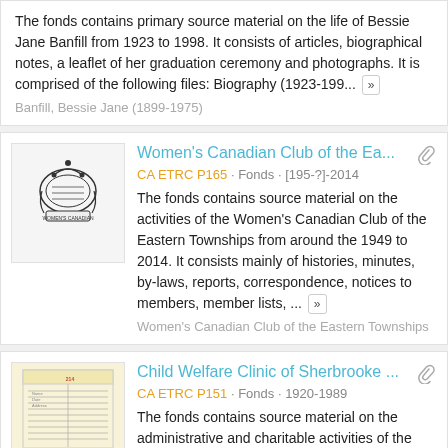The fonds contains primary source material on the life of Bessie Jane Banfill from 1923 to 1998. It consists of articles, biographical notes, a leaflet of her graduation ceremony and photographs. It is comprised of the following files: Biography (1923-199... »
Banfill, Bessie Jane (1899-1975)
Women's Canadian Club of the Ea...
CA ETRC P165 · Fonds · [195-?]-2014
The fonds contains source material on the activities of the Women's Canadian Club of the Eastern Townships from around the 1949 to 2014. It consists mainly of histories, minutes, by-laws, reports, correspondence, notices to members, member lists, ... »
Women's Canadian Club of the Eastern Townships
Child Welfare Clinic of Sherbrooke ...
CA ETRC P151 · Fonds · 1920-1989
The fonds contains source material on the administrative and charitable activities of the Child Welfare Clinic of Sherbrooke from 1920...